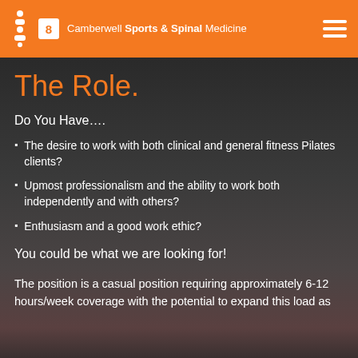Camberwell Sports & Spinal Medicine
The Role.
Do You Have….
The desire to work with both clinical and general fitness Pilates clients?
Upmost professionalism and the ability to work both independently and with others?
Enthusiasm and a good work ethic?
You could be what we are looking for!
The position is a casual position requiring approximately 6-12 hours/week coverage with the potential to expand this load as the practice grows.